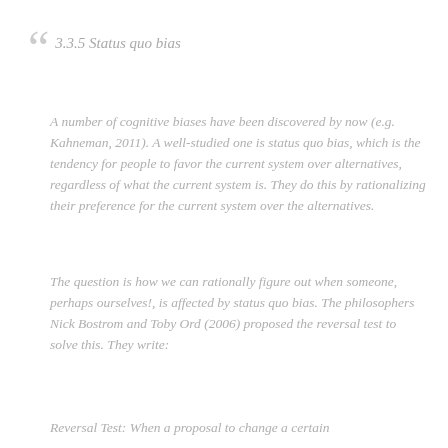3.3.5 Status quo bias
A number of cognitive biases have been discovered by now (e.g. Kahneman, 2011). A well-studied one is status quo bias, which is the tendency for people to favor the current system over alternatives, regardless of what the current system is. They do this by rationalizing their preference for the current system over the alternatives.
The question is how we can rationally figure out when someone, perhaps ourselves!, is affected by status quo bias. The philosophers Nick Bostrom and Toby Ord (2006) proposed the reversal test to solve this. They write:
Reversal Test: When a proposal to change a certain